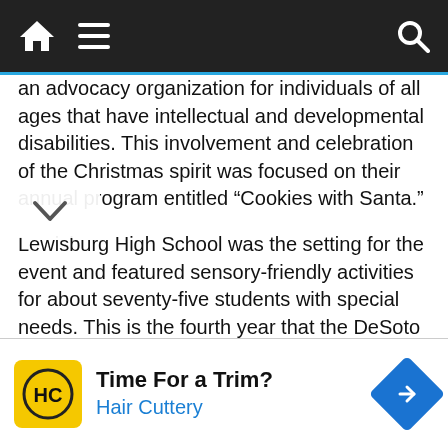[Navigation bar: home icon, menu icon, search icon]
an advocacy organization for individuals of all ages that have intellectual and developmental disabilities.  This involvement and celebration of the Christmas spirit was focused on their annual program entitled “Cookies with Santa.”
Lewisburg High School was the setting for the event and featured sensory-friendly activities for about seventy-five students with special needs. This is the fourth year that the DeSoto Civic Garden Club has been associated with the organization.
During the “Cookies with Santa,” celebration, the [lents participated in stuffing packets of food]
[Figure (other): Advertisement banner: HC Hair Cuttery logo (yellow square with HC emblem), headline 'Time For a Trim?', subtitle 'Hair Cuttery' in blue, blue diamond arrow icon on right]